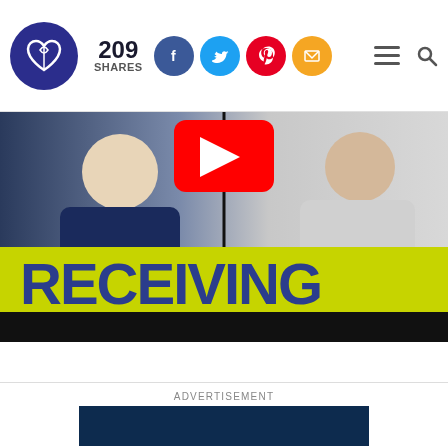209 SHARES — Logo, social share buttons (Facebook, Twitter, Pinterest, Email), hamburger menu, search icon
[Figure (photo): Two people, one in a navy sweatshirt and one in a light grey long-sleeve shirt, with a YouTube play button icon between them and large text overlay reading RECEIVING on a yellow-green background band]
ADVERTISEMENT
[Figure (other): Dark navy blue advertisement block placeholder]